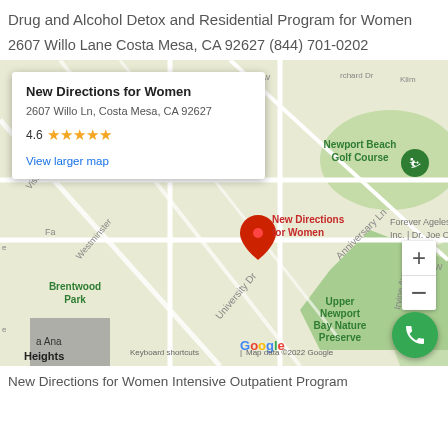Drug and Alcohol Detox and Residential Program for Women
2607 Willo Lane Costa Mesa, CA 92627 (844) 701-0202
[Figure (map): Google Maps screenshot showing location of New Directions for Women at 2607 Willo Ln, Costa Mesa, CA 92627. Map shows Newport Beach Golf Course, Brentwood Park, Upper Newport Bay Nature Preserve, and surrounding streets including University Dr, Irvine Ave, Westminster, Vista Ave, Anniversary Ln. A red location pin marks the business. An info card overlay shows: New Directions for Women, 2607 Willo Ln, Costa Mesa, CA 92627, rating 4.6 stars, link to View larger map. Zoom controls and a green phone button are visible.]
New Directions for Women Intensive Outpatient Program